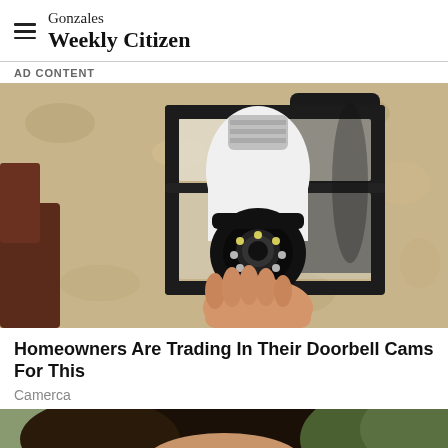Gonzales Weekly Citizen
AD CONTENT
[Figure (photo): A hand holds a smart security camera bulb device inserted into an outdoor black metal lantern mounted on a textured stucco wall. The camera bulb has a circular lens with LED lights visible at the bottom.]
Homeowners Are Trading In Their Doorbell Cams For This
Camerca
[Figure (photo): Partial view of a person's face/head from below, with greenery in the background — partially cropped at bottom of page.]